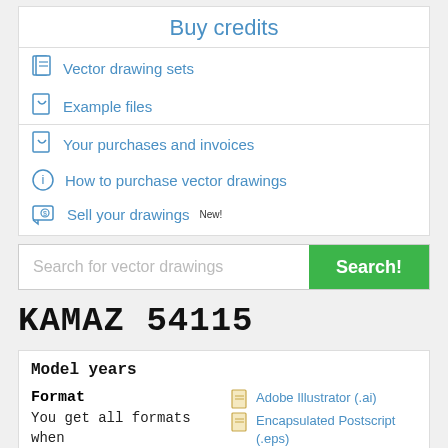Buy credits
Vector drawing sets
Example files
Your purchases and invoices
How to purchase vector drawings
Sell your drawings New!
Search for vector drawings
KAMAZ 54115
Model years
Format
You get all formats when you buy the drawing.
Adobe Illustrator (.ai)
Encapsulated Postscript (.eps)
Portable Document Format (.pdf)
Scalable Vector Graphics